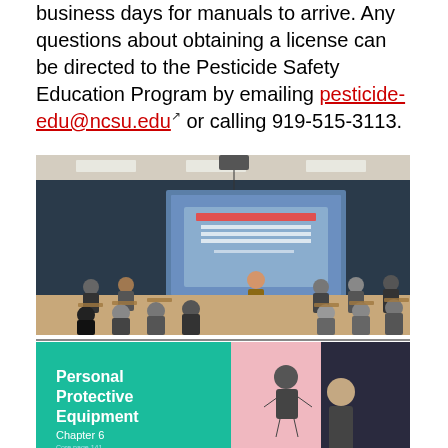business days for manuals to arrive. Any questions about obtaining a license can be directed to the Pesticide Safety Education Program by emailing pesticide-edu@ncsu.edu or calling 919-515-3113.
[Figure (photo): Two photos: top photo shows a classroom scene with people seated at desks facing a presenter standing in front of a projection screen showing 'WELCOME! North Carolina Cooperative Extension Pesticide Safety School'. Bottom photo shows a close-up of a presentation slide reading 'Personal Protective Equipment Chapter 6' with a person visible at the right edge.]